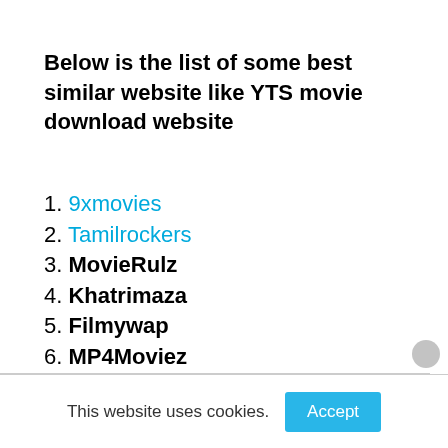Below is the list of some best similar website like YTS movie download website
1. 9xmovies
2. Tamilrockers
3. MovieRulz
4. Khatrimaza
5. Filmywap
6. MP4Moviez
7. Movies Counter
This website uses cookies. Accept